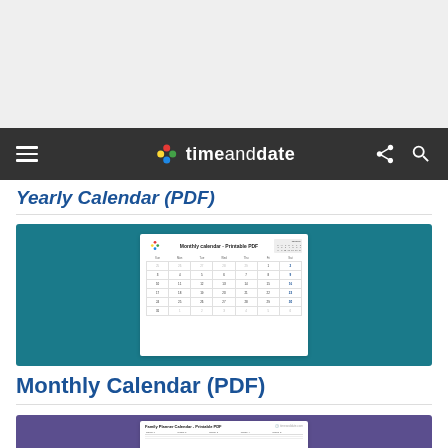[Figure (screenshot): Gray header area at top of page (website above the fold)]
timeanddate (navigation bar with hamburger menu, logo, share and search icons)
Yearly Calendar (PDF)
[Figure (screenshot): Monthly Calendar PDF preview image on teal background showing a printable monthly calendar grid]
Monthly Calendar (PDF)
[Figure (screenshot): Family Planner Calendar PDF preview image on purple background (partially visible at bottom)]